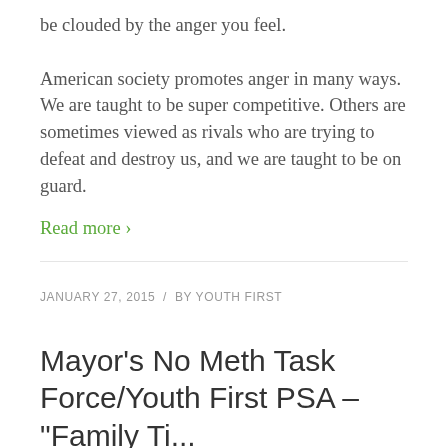be clouded by the anger you feel.

American society promotes anger in many ways. We are taught to be super competitive. Others are sometimes viewed as rivals who are trying to defeat and destroy us, and we are taught to be on guard.
Read more ›
JANUARY 27, 2015  /  BY YOUTH FIRST
Mayor's No Meth Task Force/Youth First PSA – "Family Ti..."